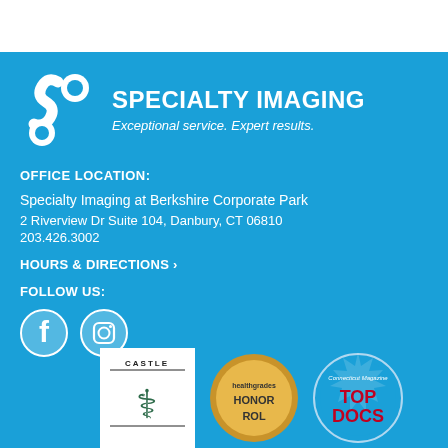[Figure (logo): Specialty Imaging logo with white S-shaped icon and company name]
OFFICE LOCATION:
Specialty Imaging at Berkshire Corporate Park
2 Riverview Dr Suite 104, Danbury, CT 06810
203.426.3002
HOURS & DIRECTIONS ›
FOLLOW US:
[Figure (illustration): Facebook and Instagram social media icons in white on light blue circles]
[Figure (illustration): Three badge logos at bottom: Castle Connolly, Healthgrades Honor Roll, Connecticut Magazine Top Docs]